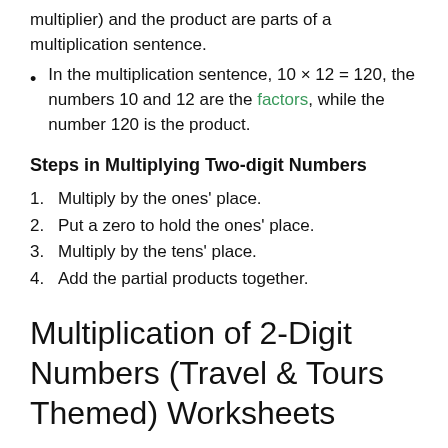multiplier) and the product are parts of a multiplication sentence.
In the multiplication sentence, 10 × 12 = 120, the numbers 10 and 12 are the factors, while the number 120 is the product.
Steps in Multiplying Two-digit Numbers
1. Multiply by the ones' place.
2. Put a zero to hold the ones' place.
3. Multiply by the tens' place.
4. Add the partial products together.
Multiplication of 2-Digit Numbers (Travel & Tours Themed) Worksheets